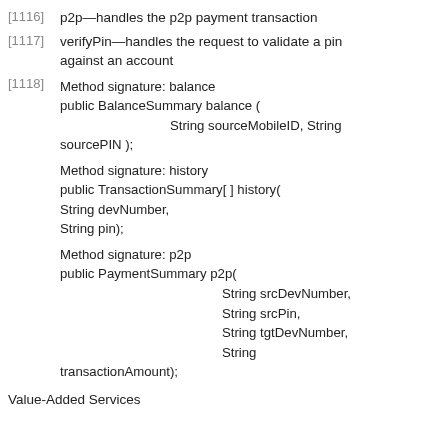[1116] p2p—handles the p2p payment transaction
[1117] verifyPin—handles the request to validate a pin against an account
[1118] Method signature: balance
public BalanceSummary balance (
    String sourceMobileID, String sourcePIN );
Method signature: history
public TransactionSummary[ ] history(
String devNumber,
String pin);
Method signature: p2p
public PaymentSummary p2p(
    String srcDevNumber,
    String srcPin,
    String tgtDevNumber,
    String transactionAmount);
Value-Added Services